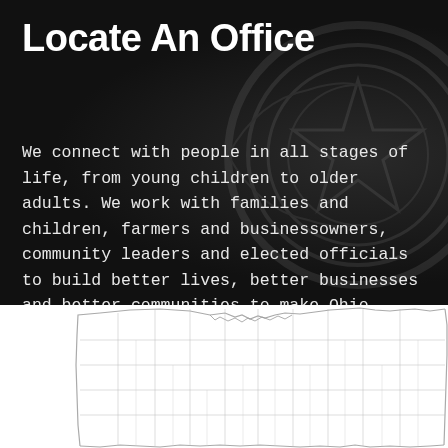Locate An Office
We connect with people in all stages of life, from young children to older adults. We work with families and children, farmers and businessowners, community leaders and elected officials to build better lives, better businesses and better communities to make Ohio great.
[Figure (map): Map of Ohio showing county boundaries in white/light gray outlines, with a northern border showing Lake Erie coastline. The map displays all 88 Ohio counties outlined against a white background.]